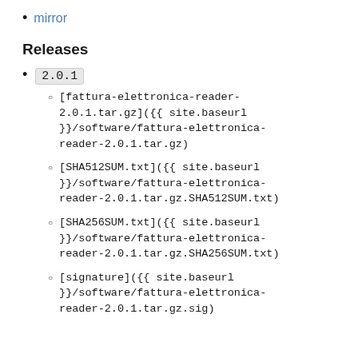mirror
Releases
2.0.1
[fattura-elettronica-reader-2.0.1.tar.gz]({{ site.baseurl }}/software/fattura-elettronica-reader-2.0.1.tar.gz)
[SHA512SUM.txt]({{ site.baseurl }}/software/fattura-elettronica-reader-2.0.1.tar.gz.SHA512SUM.txt)
[SHA256SUM.txt]({{ site.baseurl }}/software/fattura-elettronica-reader-2.0.1.tar.gz.SHA256SUM.txt)
[signature]({{ site.baseurl }}/software/fattura-elettronica-reader-2.0.1.tar.gz.sig)